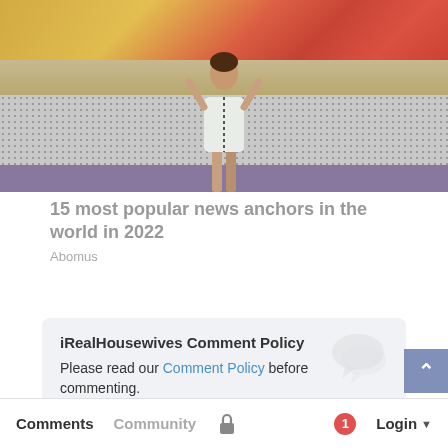[Figure (photo): A woman in a white dress standing in front of a colorful news studio set with a dotted display panel and purple base.]
15 most popular news anchors in the world in 2022
Abomus
iRealHousewives Comment Policy
Please read our Comment Policy before commenting.
Comments  Community  Login